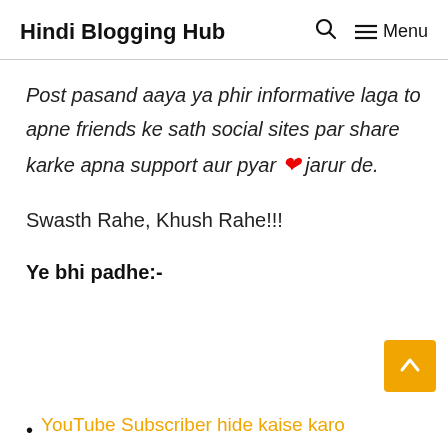Hindi Blogging Hub  🔍  ☰ Menu
Post pasand aaya ya phir informative laga to apne friends ke sath social sites par share karke apna support aur pyar ❤ jarur de.
Swasth Rahe, Khush Rahe!!!
Ye bhi padhe:-
YouTube Subscriber hide kaise karo